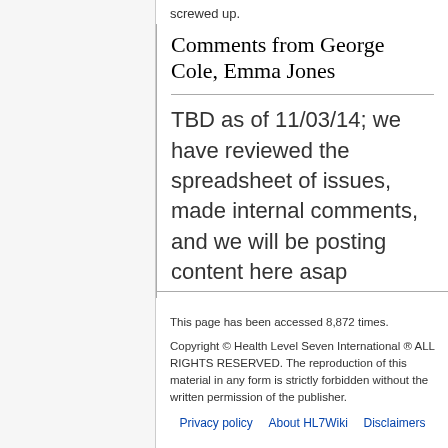screwed up.
Comments from George Cole, Emma Jones
TBD as of 11/03/14; we have reviewed the spreadsheet of issues, made internal comments, and we will be posting content here asap
This page has been accessed 8,872 times.
Copyright © Health Level Seven International ® ALL RIGHTS RESERVED. The reproduction of this material in any form is strictly forbidden without the written permission of the publisher.
Privacy policy  About HL7Wiki  Disclaimers